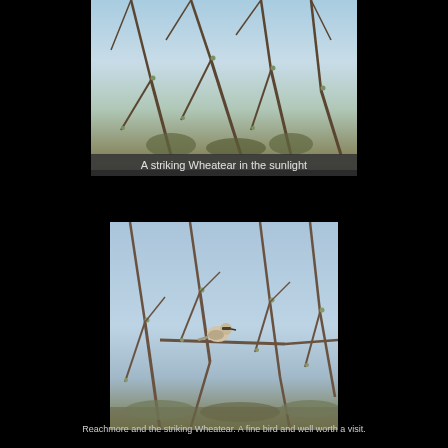[Figure (photo): A Wheatear bird perched among bare twigs and budding branches against a sky background, photographed in bright sunlight - top portion cropped]
A striking Wheatear in the sunlight
[Figure (photo): A Wheatear bird perched on a branch among bare twigs and budding branches against a light blue sky background]
Reachmore and the striking Wheatear. A fine bird and well worth a visit.